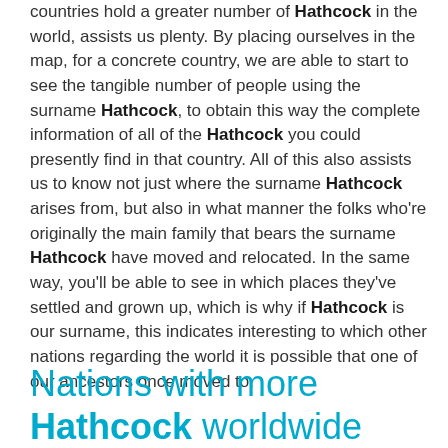countries hold a greater number of Hathcock in the world, assists us plenty. By placing ourselves in the map, for a concrete country, we are able to start to see the tangible number of people using the surname Hathcock, to obtain this way the complete information of all of the Hathcock you could presently find in that country. All of this also assists us to know not just where the surname Hathcock arises from, but also in what manner the folks who're originally the main family that bears the surname Hathcock have moved and relocated. In the same way, you'll be able to see in which places they've settled and grown up, which is why if Hathcock is our surname, this indicates interesting to which other nations regarding the world it is possible that one of our ancestors once moved to.
Nations with more Hathcock worldwide